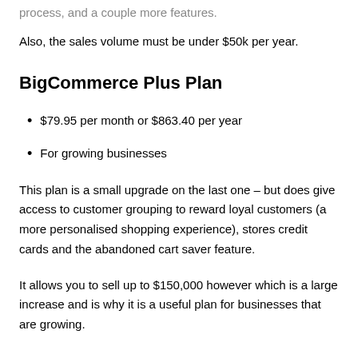process, and a couple more features.
Also, the sales volume must be under $50k per year.
BigCommerce Plus Plan
$79.95 per month or $863.40 per year
For growing businesses
This plan is a small upgrade on the last one – but does give access to customer grouping to reward loyal customers (a more personalised shopping experience), stores credit cards and the abandoned cart saver feature.
It allows you to sell up to $150,000 however which is a large increase and is why it is a useful plan for businesses that are growing.